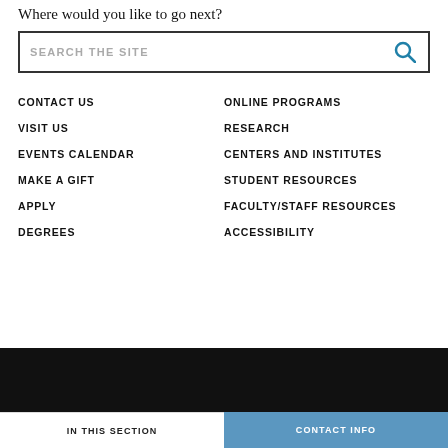Where would you like to go next?
SEARCH THE SITE
CONTACT US
ONLINE PROGRAMS
VISIT US
RESEARCH
EVENTS CALENDAR
CENTERS AND INSTITUTES
MAKE A GIFT
STUDENT RESOURCES
APPLY
FACULTY/STAFF RESOURCES
DEGREES
ACCESSIBILITY
IN THIS SECTION | CONTACT INFO